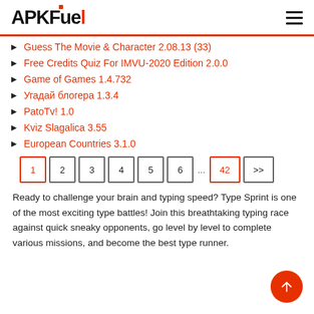APKFuel
Guess The Movie & Character 2.08.13 (33)
Free Credits Quiz For IMVU-2020 Edition 2.0.0
Game of Games 1.4.732
Угадай блогера 1.3.4
PatoTv! 1.0
Kviz Slagalica 3.55
European Countries 3.1.0
1 2 3 4 5 6 ... 42 >>
Ready to challenge your brain and typing speed? Type Sprint is one of the most exciting type battles! Join this breathtaking typing race against quick sneaky opponents, go level by level to complete various missions, and become the best type runner.